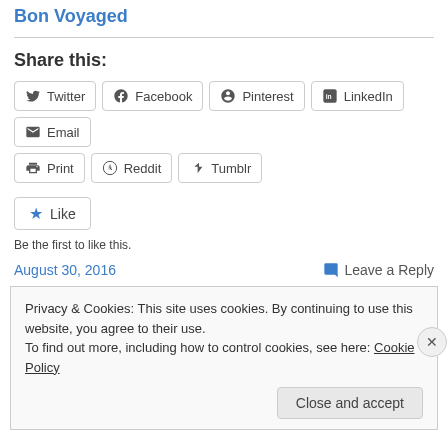Bon Voyaged
Share this:
Twitter
Facebook
Pinterest
LinkedIn
Email
Print
Reddit
Tumblr
Like
Be the first to like this.
August 30, 2016
Leave a Reply
Privacy & Cookies: This site uses cookies. By continuing to use this website, you agree to their use.
To find out more, including how to control cookies, see here: Cookie Policy
Close and accept